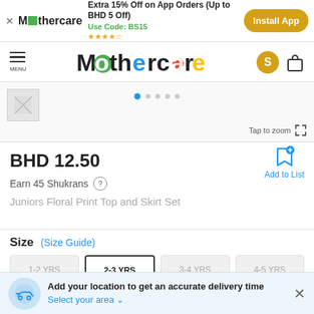Extra 15% Off on App Orders (Up to BHD 5 Off) | Use Code: BS15 | ★★★★☆ | Install App
[Figure (logo): Mothercare navigation bar with menu icon, Mothercare logo, user icon S and bag icon]
[Figure (photo): Product image area with thumbnail placeholder, carousel dots, and Tap to zoom icon]
BHD 12.50
Earn 45 Shukrans
Juniors Floral Print Top and Skirt Set
Size (Size Guide)
1-2 YRS
2-3 YRS
3-4 YRS
4-5 YRS
Add your location to get an accurate delivery time
Select your area ▾